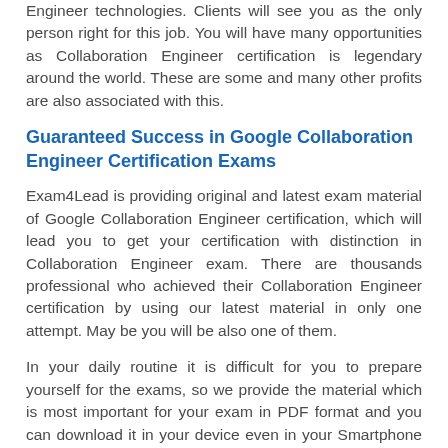Engineer technologies. Clients will see you as the only person right for this job. You will have many opportunities as Collaboration Engineer certification is legendary around the world. These are some and many other profits are also associated with this.
Guaranteed Success in Google Collaboration Engineer Certification Exams
Exam4Lead is providing original and latest exam material of Google Collaboration Engineer certification, which will lead you to get your certification with distinction in Collaboration Engineer exam. There are thousands professional who achieved their Collaboration Engineer certification by using our latest material in only one attempt. May be you will be also one of them.
In your daily routine it is difficult for you to prepare yourself for the exams, so we provide the material which is most important for your exam in PDF format and you can download it in your device even in your Smartphone to study everywhere you want. This material is prepared by the Google experts and we assure you that by using of material you can your certification with